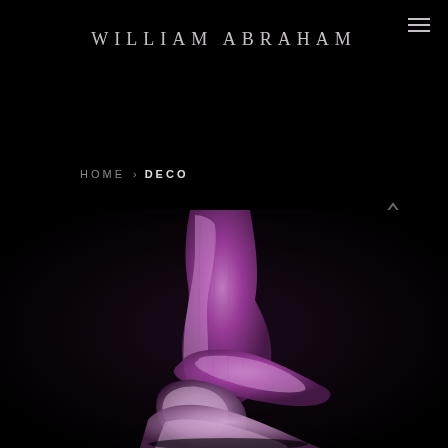WILLIAM ABRAHAM
HOME › DECO
[Figure (photo): Artistic close-up photograph of draped purple/mauve satin ribbon fabric curled and folded, shot against a pure black background with dramatic lighting highlighting the texture and sheen of the material.]